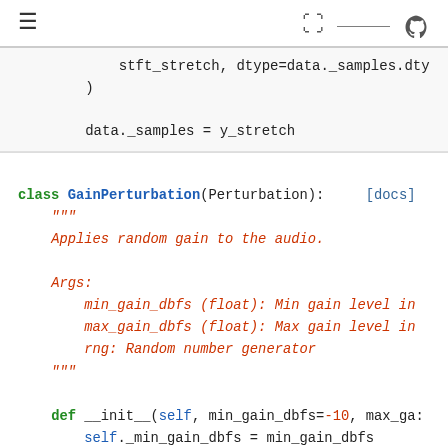≡   [expand] [github]
stft_stretch, dtype=data._samples.dty
        )

        data._samples = y_stretch
class GainPerturbation(Perturbation):    [docs]
    """
    Applies random gain to the audio.

    Args:
        min_gain_dbfs (float): Min gain level in
        max_gain_dbfs (float): Max gain level in
        rng: Random number generator
    """

    def __init__(self, min_gain_dbfs=-10, max_ga:
        self._min_gain_dbfs = min_gain_dbfs
        self._max_gain_dbfs = max_gain_dbfs
        self._rng = random.Random()  if rng is No

    def perturb(self, data):                [docs]